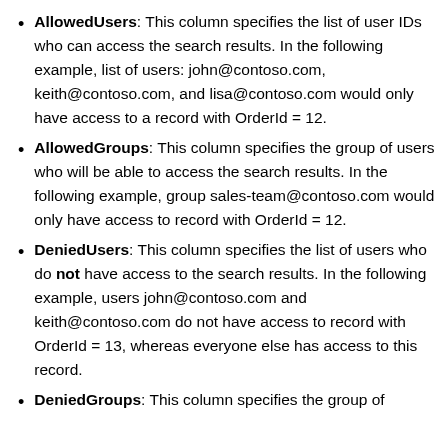AllowedUsers: This column specifies the list of user IDs who can access the search results. In the following example, list of users: john@contoso.com, keith@contoso.com, and lisa@contoso.com would only have access to a record with OrderId = 12.
AllowedGroups: This column specifies the group of users who will be able to access the search results. In the following example, group sales-team@contoso.com would only have access to record with OrderId = 12.
DeniedUsers: This column specifies the list of users who do not have access to the search results. In the following example, users john@contoso.com and keith@contoso.com do not have access to record with OrderId = 13, whereas everyone else has access to this record.
DeniedGroups: This column specifies the group of...